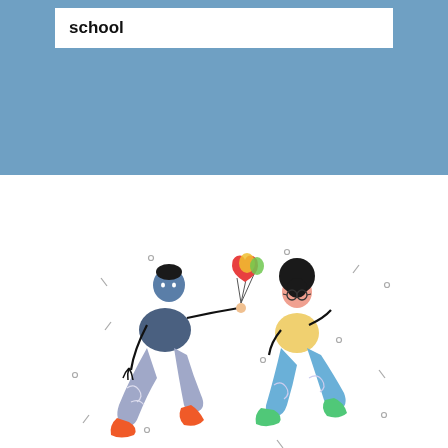school
[Figure (illustration): Two cartoon figures jumping/running, one holding balloons (heart-shaped red balloon, yellow and green balloons), both wearing casual colorful clothes. Decorative confetti/sparkle elements scattered around.]